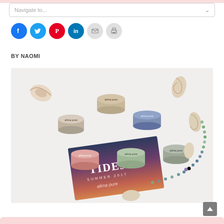Navigate to...
[Figure (infographic): Row of social media sharing icon circles: Facebook (blue), Twitter (light blue), Pinterest (red), LinkedIn (blue), Email (gray), Print (gray)]
BY NAOMI
[Figure (photo): Photo of multiple Alima Pure mineral eyeshadow jar pots arranged around a 'TIDES Summer 2017' collection card, surrounded by seashells and a green beaded necklace on a white background.]